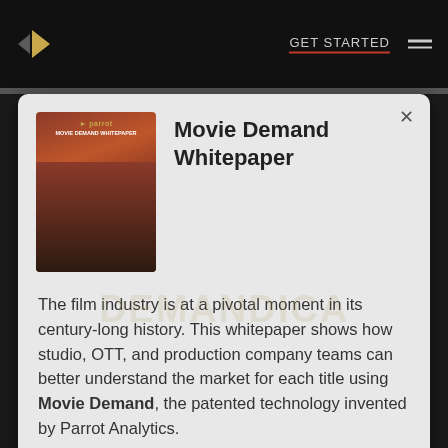GET STARTED
Movie Demand Whitepaper
The film industry is at a pivotal moment in its century-long history. This whitepaper shows how studio, OTT, and production company teams can better understand the market for each title using Movie Demand, the patented technology invented by Parrot Analytics.
Get a glimpse into the future of global audience demand measurement for TV shows, movies and talent and learn from consolidated insights and strategic thinking focused on the entertainment industry.